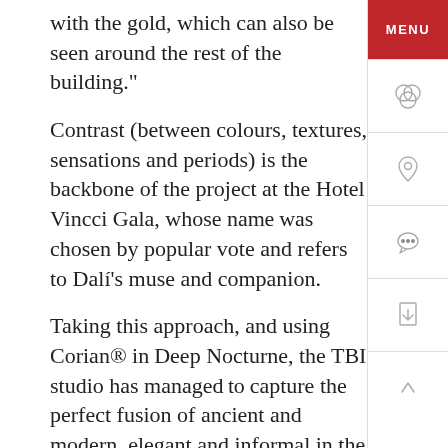with the gold, which can also be seen around the rest of the building."
Contrast (between colours, textures, sensations and periods) is the backbone of the project at the Hotel Vincci Gala, whose name was chosen by popular vote and refers to Dalí's muse and companion.
Taking this approach, and using Corian® in Deep Nocturne, the TBI studio has managed to capture the perfect fusion of ancient and modern, elegant and informal in the hotel. The design also had to be practical. Merte says, "this is a surface that must also be able to cope with all kinds of liquids and stains and constant activity, which, in addition to its